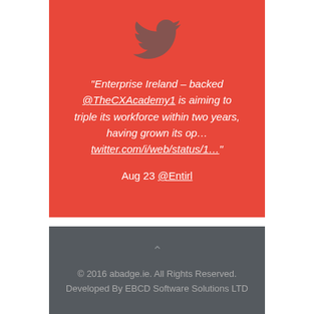[Figure (logo): Twitter bird logo icon in dark grey on red background]
"Enterprise Ireland – backed @TheCXAcademy1 is aiming to triple its workforce within two years, having grown its op... twitter.com/i/web/status/1..."
Aug 23 @Entirl
© 2016 abadge.ie. All Rights Reserved. Developed By EBCD Software Solutions LTD